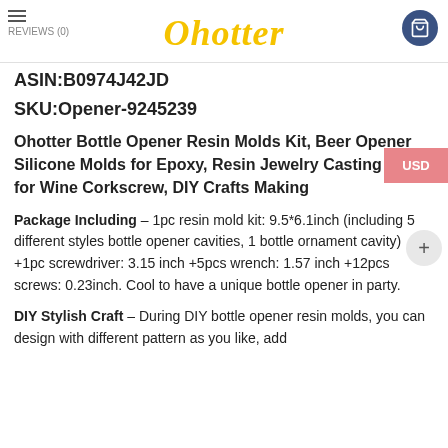Ohotter | REVIEWS (0)
ASIN:B0974J42JD
SKU:Opener-9245239
Ohotter Bottle Opener Resin Molds Kit, Beer Opener Silicone Molds for Epoxy, Resin Jewelry Casting Molds for Wine Corkscrew, DIY Crafts Making
Package Including – 1pc resin mold kit: 9.5*6.1inch (including 5 different styles bottle opener cavities, 1 bottle ornament cavity) +1pc screwdriver: 3.15 inch +5pcs wrench: 1.57 inch +12pcs screws: 0.23inch. Cool to have a unique bottle opener in party.
DIY Stylish Craft – During DIY bottle opener resin molds, you can design with different pattern as you like, add